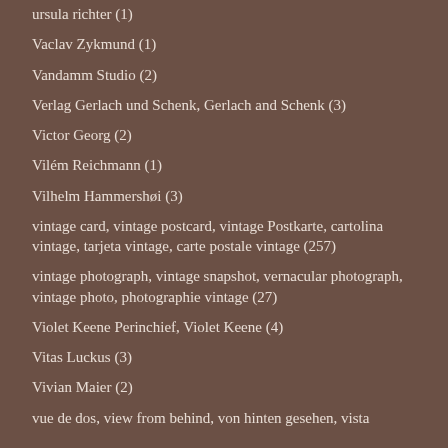ursula richter (1)
Vaclav Zykmund (1)
Vandamm Studio (2)
Verlag Gerlach und Schenk, Gerlach and Schenk (3)
Victor Georg (2)
Vilém Reichmann (1)
Vilhelm Hammershøi (3)
vintage card, vintage postcard, vintage Postkarte, cartolina vintage, tarjeta vintage, carte postale vintage (257)
vintage photograph, vintage snapshot, vernacular photograph, vintage photo, photographie vintage (27)
Violet Keene Perinchief, Violet Keene (4)
Vitas Luckus (3)
Vivian Maier (2)
vue de dos, view from behind, von hinten gesehen, vista